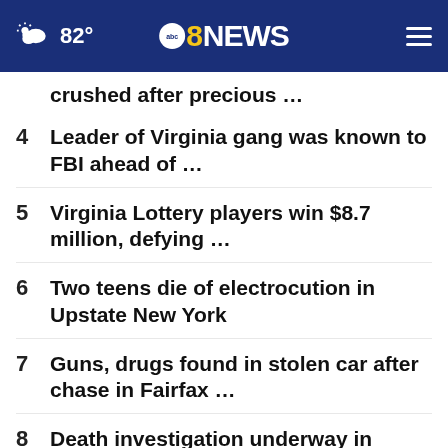82° | abc8NEWS
crushed after precious …
4  Leader of Virginia gang was known to FBI ahead of …
5  Virginia Lottery players win $8.7 million, defying …
6  Two teens die of electrocution in Upstate New York
7  Guns, drugs found in stolen car after chase in Fairfax …
8  Death investigation underway in Richmond after woman …
9  Two students charged with assault